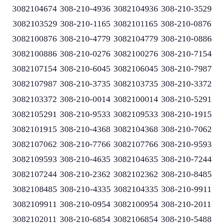3082104674 308-210-4936 3082104936 308-210-3529 3082103529 308-210-1165 3082101165 308-210-0876 3082100876 308-210-4779 3082104779 308-210-0886 3082100886 308-210-0276 3082100276 308-210-7154 3082107154 308-210-6045 3082106045 308-210-7987 3082107987 308-210-3735 3082103735 308-210-3372 3082103372 308-210-0014 3082100014 308-210-5291 3082105291 308-210-9533 3082109533 308-210-1915 3082101915 308-210-4368 3082104368 308-210-7062 3082107062 308-210-7766 3082107766 308-210-9593 3082109593 308-210-4635 3082104635 308-210-7244 3082107244 308-210-2362 3082102362 308-210-8485 3082108485 308-210-4335 3082104335 308-210-9911 3082109911 308-210-0954 3082100954 308-210-2011 3082102011 308-210-6854 3082106854 308-210-5488 3082105488 308-210-3402 3082103402 308-210-1590 3082101590 308-210-7310 3082107310 308-210-1340 3082101340 308-210-3351 3082103351 308-210-8000 3082108000 308-210-5129 3082105129 308-210-6303 3082106303 308-210-6817 3082106817 308-210-5051 3082105051 308-210-3439 3082103439 308-210-1773 3082101773 308-210-6592 3082106592 308-210-4571 3082104571 308-210-4871 3082104871 308-210-8964 3082108964 308-210-9914 3082109914 308-210-2708 3082102708 308-210-8686 3082108686 308-210-5616